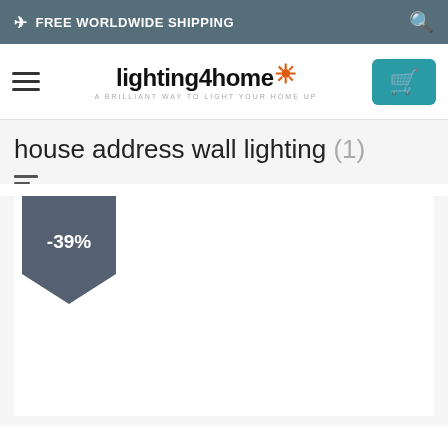FREE WORLDWIDE SHIPPING
[Figure (logo): lighting4home logo with sun icon and tagline 'A BRILLIANT WAY TO LIGHT YOUR HOME UP']
house address wall lighting (1)
[Figure (other): Product card with -39% discount badge, product image area below]